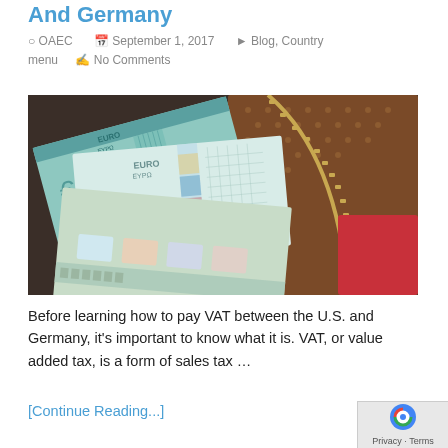And Germany
OAEC   September 1, 2017   Blog, Country menu   No Comments
[Figure (photo): Photo of Euro banknotes fanned out on a dark surface next to a Louis Vuitton patterned wallet with a gold zipper]
Before learning how to pay VAT between the U.S. and Germany, it's important to know what it is. VAT, or value added tax, is a form of sales tax …
[Continue Reading...]